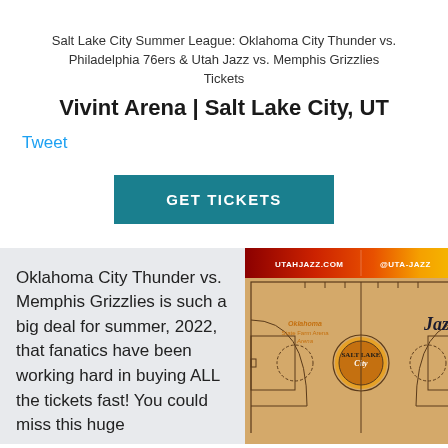Salt Lake City Summer League: Oklahoma City Thunder vs. Philadelphia 76ers & Utah Jazz vs. Memphis Grizzlies Tickets
Vivint Arena | Salt Lake City, UT
Tweet
GET TICKETS
Oklahoma City Thunder vs. Memphis Grizzlies is such a big deal for summer, 2022, that fanatics have been working hard in buying ALL the tickets fast! You could miss this huge
[Figure (photo): Utah Jazz basketball court overhead view showing Salt Lake City logo at center court, with utahjazz.com and @utajazz branding, gradient red-orange-yellow top banner]